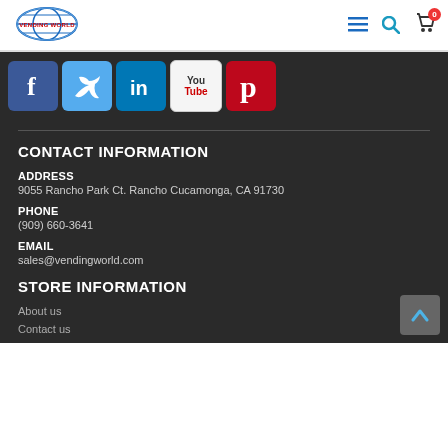Vending World — navigation header with logo, menu, search, and cart icons
[Figure (logo): Vending World globe logo with red text]
[Figure (infographic): Social media icons row: Facebook, Twitter, LinkedIn, YouTube, Pinterest]
CONTACT INFORMATION
ADDRESS
9055 Rancho Park Ct. Rancho Cucamonga, CA 91730
PHONE
(909) 660-3641
EMAIL
sales@vendingworld.com
STORE INFORMATION
About us
Contact us